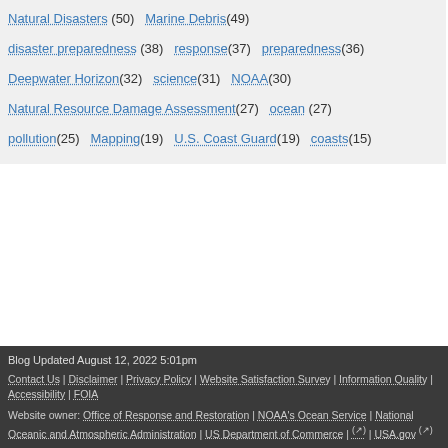Natural Disasters (50) Marine Debris (49)
disaster preparedness (38) response (37) preparedness (36)
Deepwater Horizon (32) science (31) NOAA (30)
Natural Resource Damage Assessment (27) ocean (27)
pollution (25) Mapping (19) U.S. Coast Guard (19) coasts (15)
Blog Updated August 12, 2022 5:01pm | Contact Us | Disclaimer | Privacy Policy | Website Satisfaction Survey | Information Quality | Accessibility | FOIA | Website owner: Office of Response and Restoration | NOAA's Ocean Service | National Oceanic and Atmospheric Administration | US Department of Commerce | USA.gov